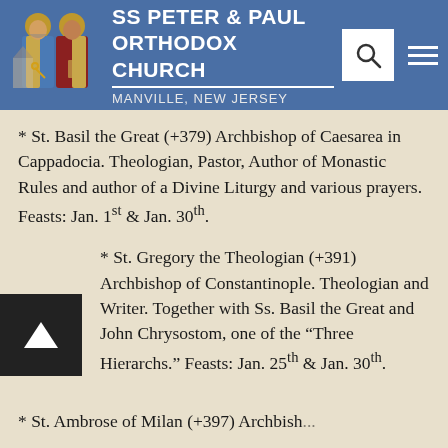SS PETER & PAUL ORTHODOX CHURCH MANVILLE, NEW JERSEY
* St. Basil the Great (+379) Archbishop of Caesarea in Cappadocia. Theologian, Pastor, Author of Monastic Rules and author of a Divine Liturgy and various prayers. Feasts: Jan. 1st & Jan. 30th.
* St. Gregory the Theologian (+391) Archbishop of Constantinople. Theologian and Writer. Together with Ss. Basil the Great and John Chrysostom, one of the "Three Hierarchs." Feasts: Jan. 25th & Jan. 30th.
* St. Ambrose of Milan (+397) Archbishop...